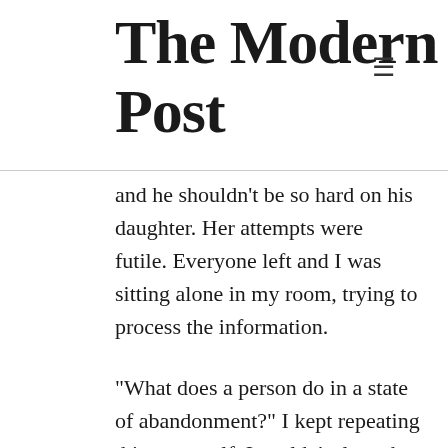The Modern Post
and he shouldn't be so hard on his daughter. Her attempts were futile. Everyone left and I was sitting alone in my room, trying to process the information.
“What does a person do in a state of abandonment?” I kept repeating this to myself. I couldn’t sleep that night. I had to find a way out. I had to decide.
By morning, I had my answer. I was abandoned, so, I was free. I told myself that since there’s nobody that I am disobeying now, I am free to do what I think is right. I did ‘my’ right.